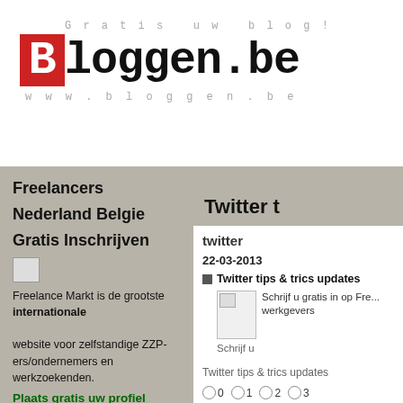[Figure (logo): Bloggen.be logo with red B and monospace text, tagline 'Gratis uw blog!' and www.bloggen.be]
Freelancers
Nederland Belgie
Gratis Inschrijven
Freelance Markt is de grootste internationale website voor zelfstandige ZZP-ers/ondernemers en werkzoekenden.
Plaats gratis uw profiel /bedrijf
Docteronline.com
Twitter t
twitter
22-03-2013
Twitter tips & trics updates
Schrijf u gratis in op Fre... werkgevers
Schrijf u
Twitter tips & trics updates
0  1  2  3